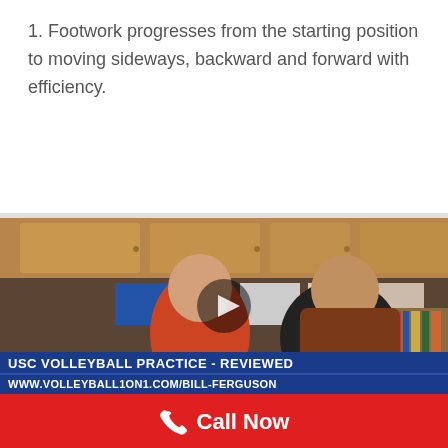1. Footwork progresses from the starting position to moving sideways, backward and forward with efficiency.
[Figure (screenshot): Video screenshot showing two men in an office setting. One man wearing a red shirt on the left, another in a black shirt seated in a brown chair on the right. Office shelves and posters visible in background. A play button overlay is shown in the center. Lower third graphics show 'USC VOLLEYBALL PRACTICE - REVIEWED' and 'WWW.VOLLEYBALL1ON1.COM/BILL-FERGUSON'.]
Call Now